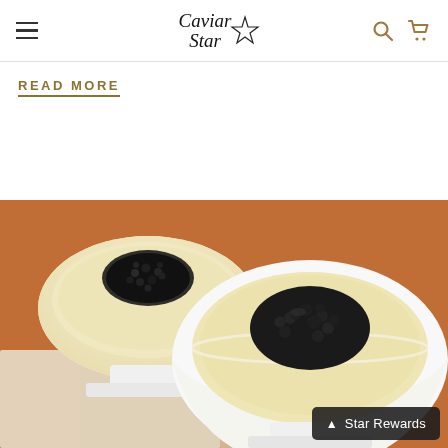Caviar Star — navigation bar with hamburger menu, logo, search and cart icons
READ MORE
[Figure (photo): Two white pedestal bowls filled with creamy pale yellow mousse or vichyssoise, each topped with a generous mound of black caviar, placed on a linen napkin against a warm brown wooden background. A Star Rewards button appears in the bottom-right corner.]